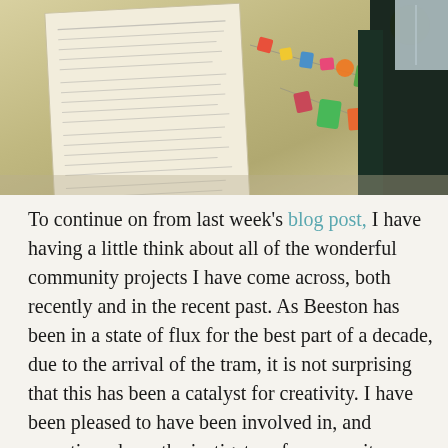[Figure (photo): Interior photo showing a wall with a large handwritten or printed paper document pinned to it, a colorful decorative garland/bunting strung diagonally, and a person in dark clothing visible on the right side.]
To continue on from last week's blog post, I have having a little think about all of the wonderful community projects I have come across, both recently and in the recent past. As Beeston has been in a state of flux for the best part of a decade, due to the arrival of the tram, it is not surprising that this has been a catalyst for creativity. I have been pleased to have been involved in, and sometimes been the instigator of community initiatives that have brought creativity out into the streets. One of these early projects, started out as a community exhibition in the local library and then became part of a summer art trail, with origami